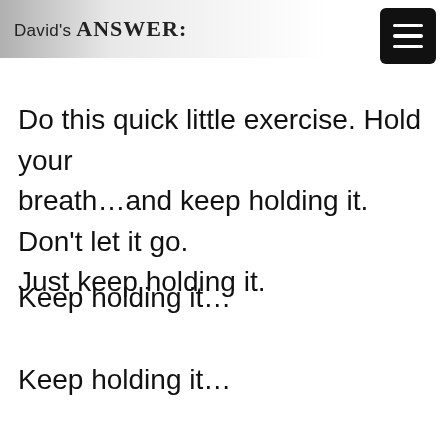David's ANSWER:
[Figure (other): Hamburger menu button icon — three horizontal white lines on a black rounded rectangle background]
Do this quick little exercise. Hold your breath…and keep holding it. Don't let it go. Just keep holding it.
Keep holding it…
Keep holding it…